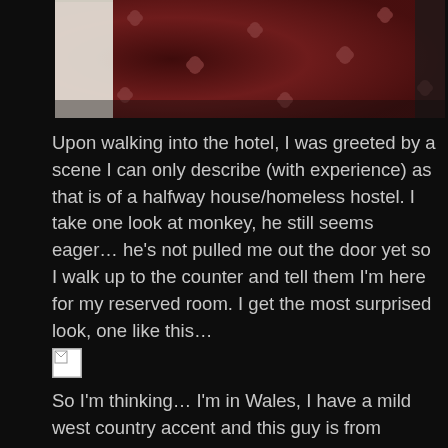[Figure (photo): Partial photo of a dark red patterned carpet, viewed from above at an angle]
Upon walking into the hotel, I was greeted by a scene I can only describe (with experience) as that is of a halfway house/homeless hostel. I take one look at monkey, he still seems eager… he's not pulled me out the door yet so I walk up to the counter and tell them I'm here for my reserved room. I get the most surprised look, one like this…
[Figure (photo): Broken/missing image placeholder]
So I'm thinking… I'm in Wales, I have a mild west country accent and this guy is from somewhere with Stan at the end of its name… maybe he doesn't understand me. Anyway, so he shoves a card reader across the counter. I'm actually used to places that